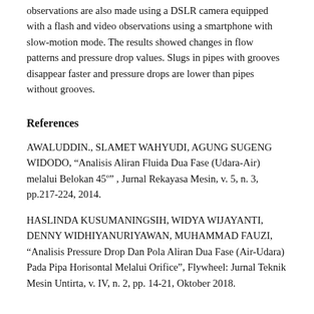observations are also made using a DSLR camera equipped with a flash and video observations using a smartphone with slow-motion mode. The results showed changes in flow patterns and pressure drop values. Slugs in pipes with grooves disappear faster and pressure drops are lower than pipes without grooves.
References
AWALUDDIN., SLAMET WAHYUDI, AGUNG SUGENG WIDODO, “Analisis Aliran Fluida Dua Fase (Udara-Air) melalui Belokan 45°” , Jurnal Rekayasa Mesin, v. 5, n. 3, pp.217-224, 2014.
HASLINDA KUSUMANINGSIH, WIDYA WIJAYANTI, DENNY WIDHIYANURIYAWAN, MUHAMMAD FAUZI, “Analisis Pressure Drop Dan Pola Aliran Dua Fase (Air-Udara) Pada Pipa Horisontal Melalui Orifice”, Flywheel: Jurnal Teknik Mesin Untirta, v. IV, n. 2, pp. 14-21, Oktober 2018.